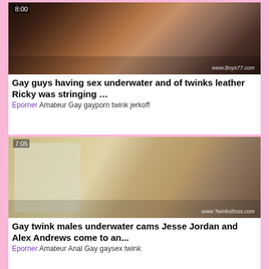[Figure (photo): Video thumbnail showing adult content, watermark www.Boys77.com, duration 8:00]
Gay guys having sex underwater and of twinks leather Ricky was stringing …
Eporner Amateur Gay gayporn twink jerkoff
[Figure (photo): Video thumbnail showing adult content, watermark www.TwinksBoss.com, duration 7:05]
Gay twink males underwater cams Jesse Jordan and Alex Andrews come to an...
Eporner Amateur Anal Gay gaysex twink